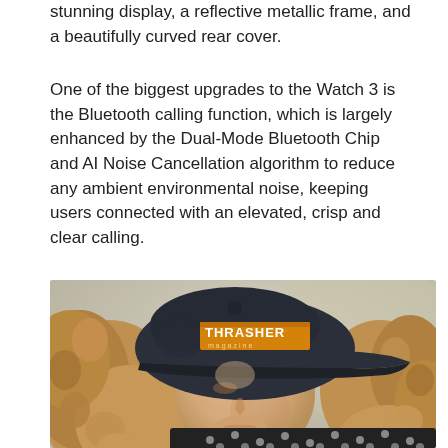stunning display, a reflective metallic frame, and a beautifully curved rear cover.
One of the biggest upgrades to the Watch 3 is the Bluetooth calling function, which is largely enhanced by the Dual-Mode Bluetooth Chip and AI Noise Cancellation algorithm to reduce any ambient environmental noise, keeping users connected with an elevated, crisp and clear calling.
[Figure (photo): A person with curly blonde hair wearing a black snapback cap with 'Thrasher' logo in yellow/orange text, looking downward. They are wearing a black and white polka dot top. Background is blurred light green/grey.]